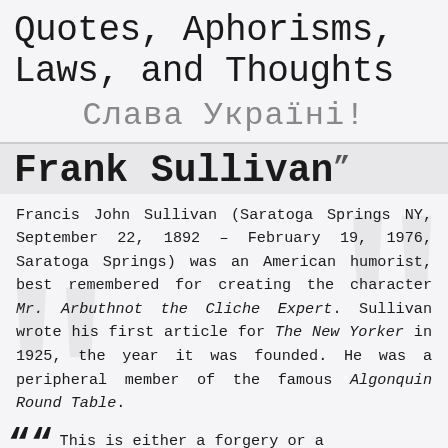Quotes, Aphorisms, Laws, and Thoughts
Слава Україні!
Frank Sullivan
Francis John Sullivan (Saratoga Springs NY, September 22, 1892 – February 19, 1976, Saratoga Springs) was an American humorist, best remembered for creating the character Mr. Arbuthnot the Cliche Expert. Sullivan wrote his first article for The New Yorker in 1925, the year it was founded. He was a peripheral member of the famous Algonquin Round Table.
“ This is either a forgery or a